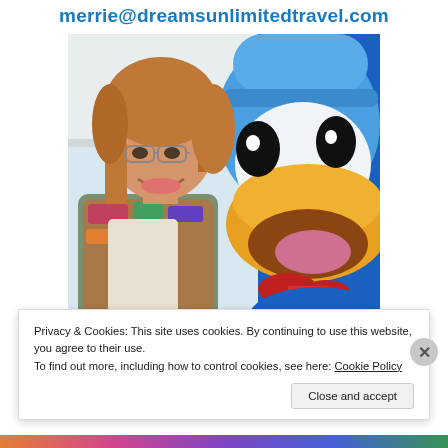merrie@dreamsunlimitedtravel.com
[Figure (photo): Woman with reddish-brown hair and glasses smiling next to a Donald Duck character mascot costume]
Privacy & Cookies: This site uses cookies. By continuing to use this website, you agree to their use.
To find out more, including how to control cookies, see here: Cookie Policy
Close and accept